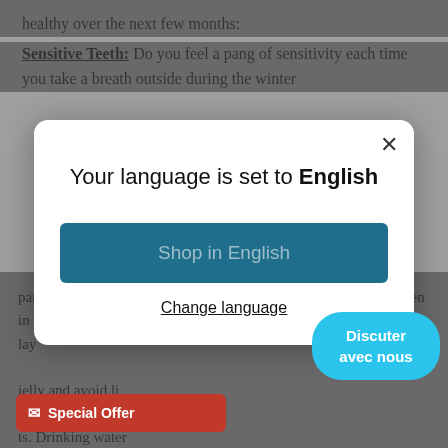healthy over the next few months:
Sensitive Teeth: Do you feel a pang of sensitivity each time you take a breath outside during the winter
[Figure (screenshot): Modal dialog overlay on a webpage. Title reads 'Your language is set to English'. Contains a teal 'Shop in English' button and an underlined 'Change language' link. An X close button is in the top right corner.]
particularly susceptible to dry winter air and that won't change even in this mask-wearing era. Prevent chapped lips by applying a thin layer of petroleum jelly and avoid licking your lips. Drinking water
[Figure (screenshot): Blue rounded chat bubble button with text 'Discuter avec nous']
[Figure (screenshot): Red 'Special Offer' email subscription bar at bottom of page]